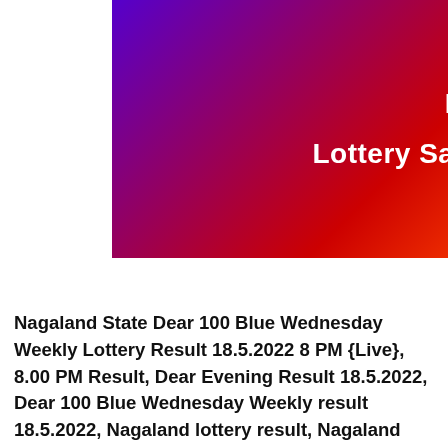[Figure (illustration): Gradient banner with purple-to-red-to-orange-to-yellow background displaying 'Nagaland State' and 'Lottery Sambad Result Today 8PM' in white bold text]
Nagaland State Dear 100 Blue Wednesday Weekly Lottery Result 18.5.2022 8 PM {Live}, 8.00 PM Result, Dear Evening Result 18.5.2022, Dear 100 Blue Wednesday Weekly result 18.5.2022, Nagaland lottery result, Nagaland Evening Result, Dear evening result, Dear Evening 8.00 PM result